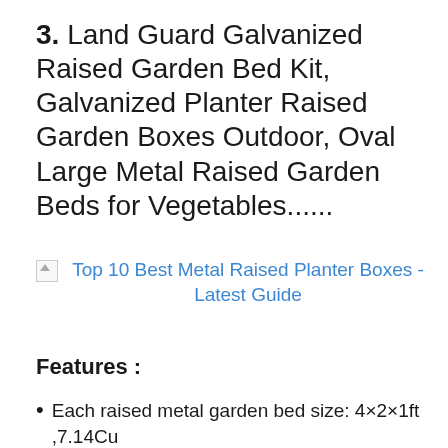3. Land Guard Galvanized Raised Garden Bed Kit, Galvanized Planter Raised Garden Boxes Outdoor, Oval Large Metal Raised Garden Beds for Vegetables......
[Figure (other): Broken image placeholder icon followed by link text: Top 10 Best Metal Raised Planter Boxes - Latest Guide]
Features :
Each raised metal garden bed size: 4×2×1ft ,7.14Cu